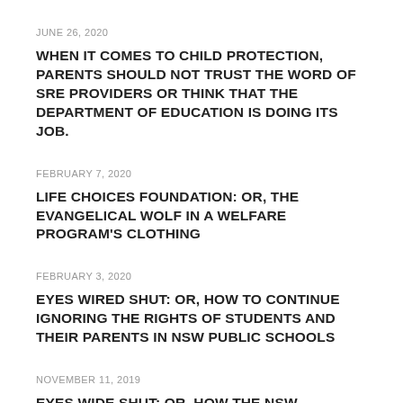JUNE 26, 2020
WHEN IT COMES TO CHILD PROTECTION, PARENTS SHOULD NOT TRUST THE WORD OF SRE PROVIDERS OR THINK THAT THE DEPARTMENT OF EDUCATION IS DOING ITS JOB.
FEBRUARY 7, 2020
LIFE CHOICES FOUNDATION: OR, THE EVANGELICAL WOLF IN A WELFARE PROGRAM'S CLOTHING
FEBRUARY 3, 2020
EYES WIRED SHUT: OR, HOW TO CONTINUE IGNORING THE RIGHTS OF STUDENTS AND THEIR PARENTS IN NSW PUBLIC SCHOOLS
NOVEMBER 11, 2019
EYES WIDE SHUT: OR, HOW THE NSW DEPARTMENT OF